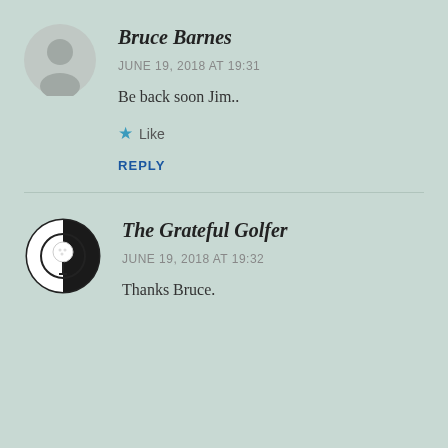Bruce Barnes
JUNE 19, 2018 AT 19:31
Be back soon Jim..
Like
REPLY
The Grateful Golfer
JUNE 19, 2018 AT 19:32
Thanks Bruce.